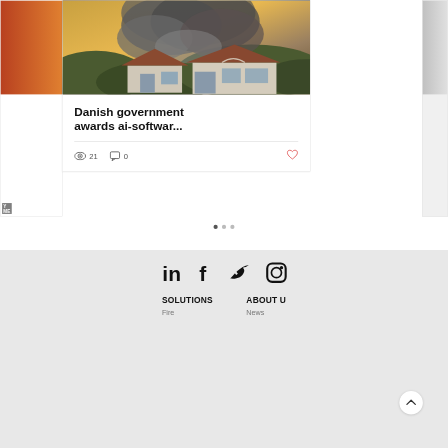[Figure (photo): Wildfire scene with large smoke plume rising over residential houses with hills in background, orange sky]
Danish government awards ai-softwar...
👁 21   💬 0   ♥
[Figure (infographic): Carousel pagination dots: three dots, first one filled/active]
[Figure (infographic): Footer with LinkedIn, Facebook, Twitter, Instagram social icons; SOLUTIONS and ABOUT US navigation links; Fire and News sub-links; scroll-to-top button]